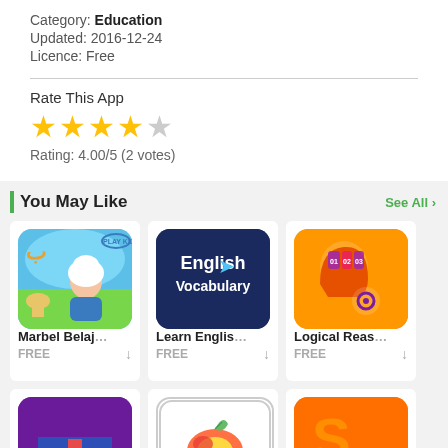Category: Education
Updated: 2016-12-24
Licence: Free
Rate This App
Rating: 4.00/5 (2 votes)
You May Like
[Figure (screenshot): Marbel Belajar app icon - cartoon Muslim girl on teal background]
Marbel Belaj...
FREE
[Figure (screenshot): Learn English Vocabulary app icon - dark blue with white text]
Learn Englis...
FREE
[Figure (screenshot): Logical Reasoning app icon - orange with brain/head silhouette]
Logical Reas...
FREE
[Figure (screenshot): App icon with UK flag on purple background (partial)]
[Figure (screenshot): App icon with fruit/food imagery (partial)]
[Figure (screenshot): App icon with orange background (partial)]